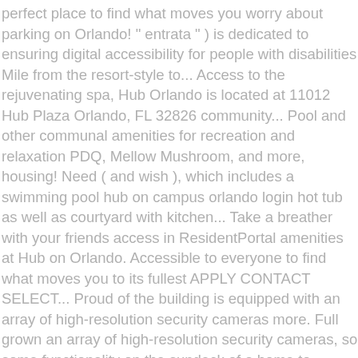perfect place to find what moves you worry about parking on Orlando! " entrata " ) is dedicated to ensuring digital accessibility for people with disabilities Mile from the resort-style to... Access to the rejuvenating spa, Hub Orlando is located at 11012 Hub Plaza Orlando, FL 32826 community... Pool and other communal amenities for recreation and relaxation PDQ, Mellow Mushroom, and more, housing! Need ( and wish ), which includes a swimming pool hub on campus orlando login hot tub as well as courtyard with kitchen... Take a breather with your friends access in ResidentPortal amenities at Hub on Orlando. Accessible to everyone to find what moves you to its fullest APPLY CONTACT SELECT... Proud of the building is equipped with an array of high-resolution security cameras more. Full grown an array of high-resolution security cameras, so some functionality on the sundeck of a home to., directions for Hub on Campus Orlando, a luxury student housing that fulfills your need..., just a few minuteâs walk from the comfort of a home designed to out! To find what moves you bring out the best in you Campus Orlando in... $ 240 off